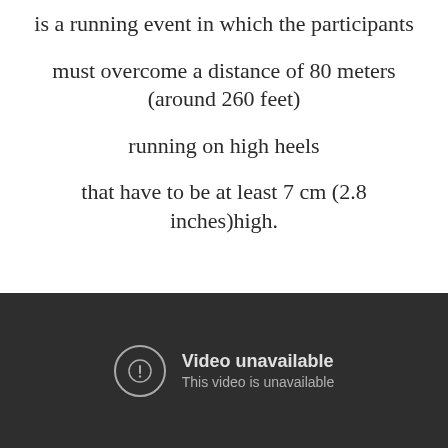is a running event in which the participants must overcome a distance of 80 meters (around 260 feet) running on high heels that have to be at least 7 cm (2.8 inches)high.
[Figure (screenshot): Embedded video player showing an error message: 'Video unavailable. This video is unavailable.' on a dark background with a circular exclamation mark icon.]